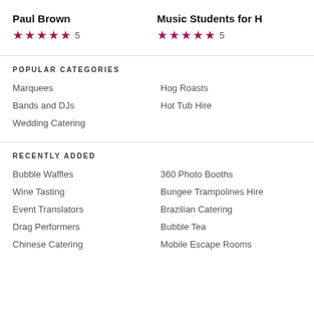Paul Brown
★★★★★ 5
Music Students for H
★★★★★ 5
POPULAR CATEGORIES
Marquees
Bands and DJs
Wedding Catering
Hog Roasts
Hot Tub Hire
RECENTLY ADDED
Bubble Waffles
Wine Tasting
Event Translators
Drag Performers
Chinese Catering
360 Photo Booths
Bungee Trampolines Hire
Brazilian Catering
Bubble Tea
Mobile Escape Rooms